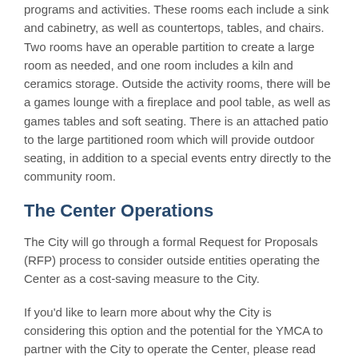programs and activities. These rooms each include a sink and cabinetry, as well as countertops, tables, and chairs. Two rooms have an operable partition to create a large room as needed, and one room includes a kiln and ceramics storage. Outside the activity rooms, there will be a games lounge with a fireplace and pool table, as well as games tables and soft seating. There is an attached patio to the large partitioned room which will provide outdoor seating, in addition to a special events entry directly to the community room.
The Center Operations
The City will go through a formal Request for Proposals (RFP) process to consider outside entities operating the Center as a cost-saving measure to the City.
If you'd like to learn more about why the City is considering this option and the potential for the YMCA to partner with the City to operate the Center, please read our FAQ webpage.